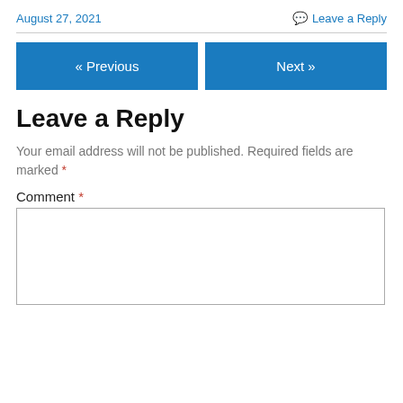August 27, 2021   Leave a Reply
« Previous   Next »
Leave a Reply
Your email address will not be published. Required fields are marked *
Comment *